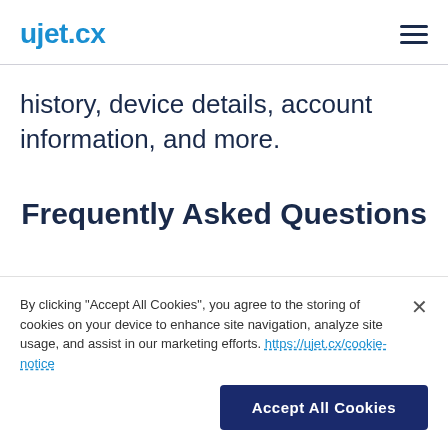ujet.cx
history, device details, account information, and more.
Frequently Asked Questions
By clicking "Accept All Cookies", you agree to the storing of cookies on your device to enhance site navigation, analyze site usage, and assist in our marketing efforts. https://ujet.cx/cookie-notice
Accept All Cookies